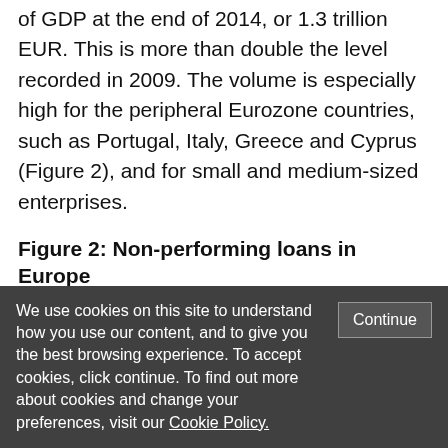of GDP at the end of 2014, or 1.3 trillion EUR. This is more than double the level recorded in 2009. The volume is especially high for the peripheral Eurozone countries, such as Portugal, Italy, Greece and Cyprus (Figure 2), and for small and medium-sized enterprises.
Figure 2: Non-performing loans in Europe
[Figure (map): Three choropleth maps of Europe showing Nonperforming Loan Ratios 2008-14. Left map labeled 2008, center labeled Postcrisis Peak, right labeled 2014. Color coding: Green = less than 5%; Yellow = between 5% and 10%; Red = above 10%. Maps show variation across European countries with southern/peripheral countries showing higher NPL ratios.]
We use cookies on this site to understand how you use our content, and to give you the best browsing experience. To accept cookies, click continue. To find out more about cookies and change your preferences, visit our Cookie Policy.